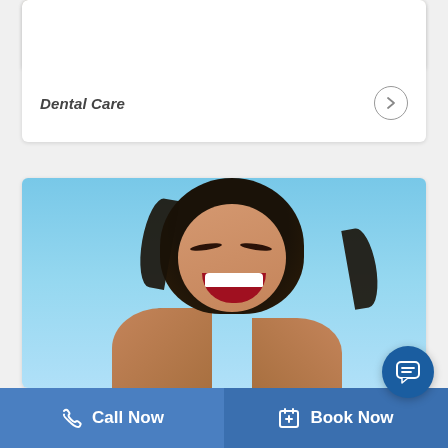[Figure (photo): Top portion of a medical/dental card showing a person in a white coat near a door, partially visible from waist down]
Dental Care
[Figure (photo): Photo of a smiling happy woman with dark curly hair laughing against a blue sky background, with another person visible behind her]
Call Now
Book Now